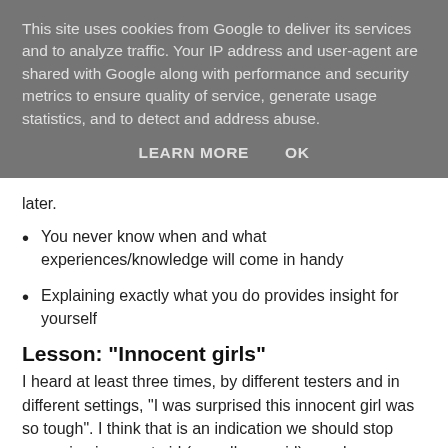This site uses cookies from Google to deliver its services and to analyze traffic. Your IP address and user-agent are shared with Google along with performance and security metrics to ensure quality of service, generate usage statistics, and to detect and address abuse.
LEARN MORE    OK
later.
You never know when and what experiences/knowledge will come in handy
Explaining exactly what you do provides insight for yourself
Lesson: "Innocent girls"
I heard at least three times, by different testers and in different settings, "I was surprised this innocent girl was so tough". I think that is an indication we should stop assuming innocent girl (or well, any girl) equals weak/fragile. My own experience in life is boys might be better at hiding/faking but we're not tougher.